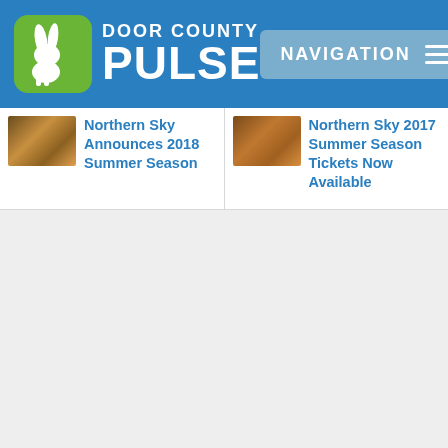Door County Pulse — Navigation header
Northern Sky Announces 2018 Summer Season
Northern Sky 2017 Summer Season Tickets Now Available